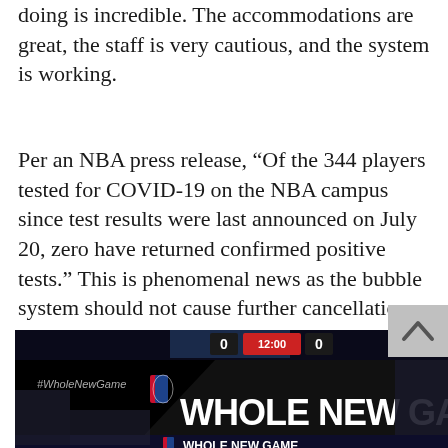doing is incredible. The accommodations are great, the staff is very cautious, and the system is working.
Per an NBA press release, “Of the 344 players tested for COVID-19 on the NBA campus since test results were last announced on July 20, zero have returned confirmed positive tests.” This is phenomenal news as the bubble system should not cause further cancellation.
[Figure (photo): NBA arena scoreboard showing #WholeNewGame branding with 'WHOLE NEW GAME' text and NBA logo, scoreboard visible at top]